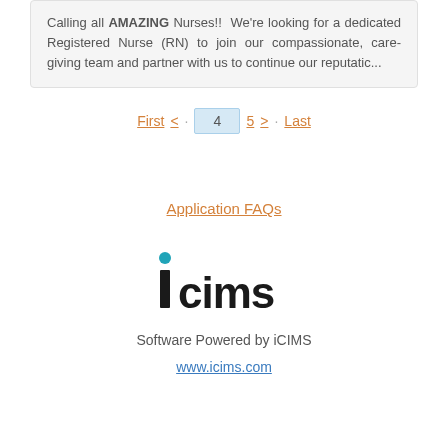Calling all AMAZING Nurses!!  We're looking for a dedicated Registered Nurse (RN) to join our compassionate, care-giving team and partner with us to continue our reputatic...
First  <  4  5  >  Last
Application FAQs
[Figure (logo): iCIMS logo with teal dot above the letter i and bold black text 'icims']
Software Powered by iCIMS
www.icims.com